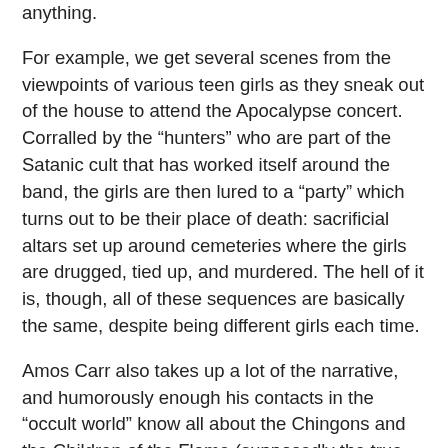anything.
For example, we get several scenes from the viewpoints of various teen girls as they sneak out of the house to attend the Apocalypse concert. Corralled by the “hunters” who are part of the Satanic cult that has worked itself around the band, the girls are then lured to a “party” which turns out to be their place of death: sacrificial altars set up around cemeteries where the girls are drugged, tied up, and murdered. The hell of it is, though, all of these sequences are basically the same, despite being different girls each time.
Amos Carr also takes up a lot of the narrative, and humorously enough his contacts in the “occult world” know all about the Chingons and the Children of the Flame (supposedly the true force behind the Son of Sam murders) and etc, as if there’s an occult newspaper they all read. One thing I’ve always loved about Christian paranoia tales is that people in the occult are always “in the know,” like there’s this Satanic grapevine that keeps them all up-to-date on everything in the occult world.